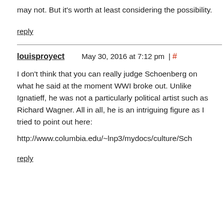may not. But it's worth at least considering the possibility.
reply
louisproyect   May 30, 2016 at 7:12 pm | #
I don't think that you can really judge Schoenberg on what he said at the moment WWI broke out. Unlike Ignatieff, he was not a particularly political artist such as Richard Wagner. All in all, he is an intriguing figure as I tried to point out here:
http://www.columbia.edu/~lnp3/mydocs/culture/Sch
reply